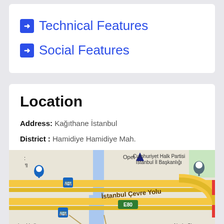Technical Features
Social Features
Location
Address: Kağıthane İstanbul
District : Hamidiye Hamidiye Mah.
[Figure (map): Google Maps view showing İstanbul Çevre Yolu (E80 highway), Cumhuriyet Halk Partisi İstanbul İl Başkanlığı marker, bus stop icons, Narin Sk., and a campus/vadi area at lower left. Roads shown in yellow/gold with blue waterway.]